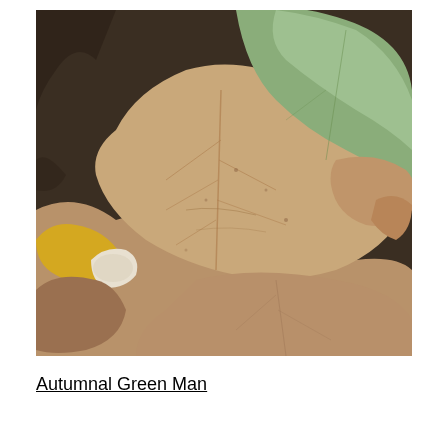[Figure (photo): Close-up photograph of autumn leaves on the ground. The image shows overlapping leaves in various states of decay — dried brown/tan leaves dominate the scene, with a green leaf visible in the upper right area, and a yellow leaf in the lower left. The leaves show detailed vein patterns and textures.]
Autumnal Green Man